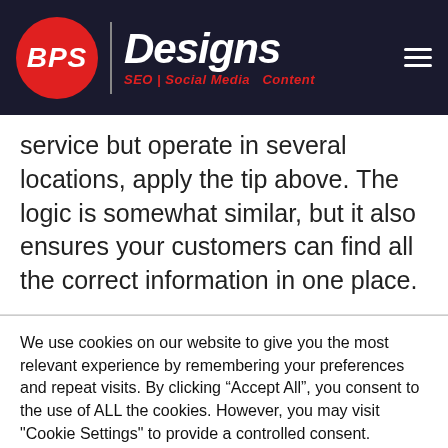[Figure (logo): BPS Designs logo with red circle containing 'BPS' text, vertical divider, and 'Designs' text with 'SEO | Social Media | Content' tagline on dark background]
y... ...p... service but operate in several locations, apply the tip above. The logic is somewhat similar, but it also ensures your customers can find all the correct information in one place.
Each page should have the basics: the name,
We use cookies on our website to give you the most relevant experience by remembering your preferences and repeat visits. By clicking “Accept All”, you consent to the use of ALL the cookies. However, you may visit "Cookie Settings" to provide a controlled consent.